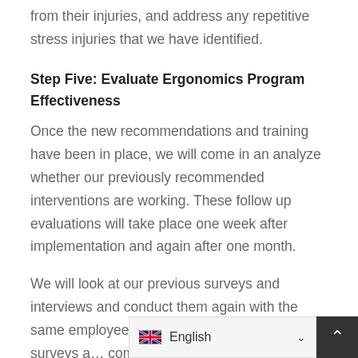from their injuries, and address any repetitive stress injuries that we have identified.
Step Five: Evaluate Ergonomics Program Effectiveness
Once the new recommendations and training have been in place, we will come in an analyze whether our previously recommended interventions are working. These follow up evaluations will take place one week after implementation and again after one month.
We will look at our previous surveys and interviews and conduct them again with the same employees. By analyzing the previous surveys and comparing them to the new